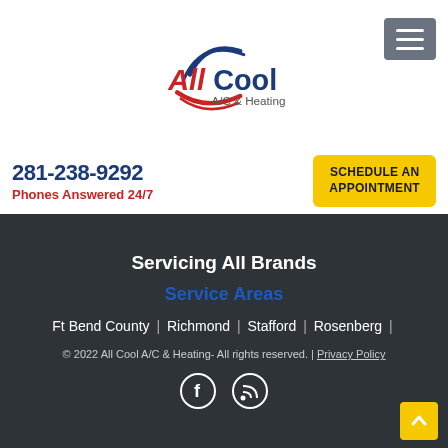[Figure (logo): All Cool A/C & Heating logo with blue swoosh and red/blue text]
281-238-9292
Phones Answered 24/7
SCHEDULE AN APPOINTMENT
Servicing All Brands
Service Areas
Ft Bend County | Richmond | Stafford | Rosenberg | Katy | River Oaks | Missouri City | Houston | Sugar Land | Fulshear | Memorial | Sienna
© 2022 All Cool A/C & Heating- All rights reserved. | Privacy Policy